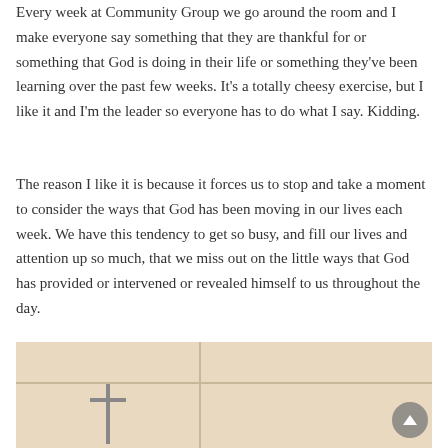Every week at Community Group we go around the room and I make everyone say something that they are thankful for or something that God is doing in their life or something they've been learning over the past few weeks. It's a totally cheesy exercise, but I like it and I'm the leader so everyone has to do what I say. Kidding.
The reason I like it is because it forces us to stop and take a moment to consider the ways that God has been moving in our lives each week. We have this tendency to get so busy, and fill our lives and attention up so much, that we miss out on the little ways that God has provided or intervened or revealed himself to us throughout the day.
[Figure (photo): A vintage or old photograph showing what appears to be a cross or religious imagery, with a warm beige/tan background, partially visible at the bottom of the page.]